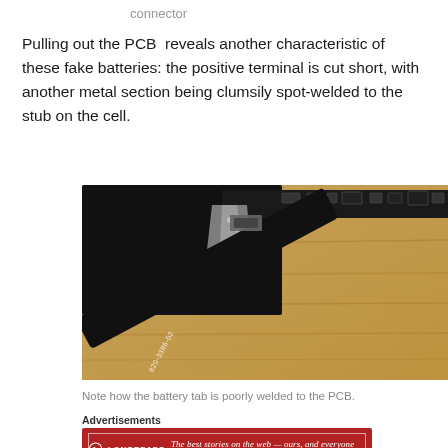connector
Pulling out the PCB  reveals another characteristic of these fake batteries: the positive terminal is cut short, with another metal section being clumsily spot-welded to the stub on the cell.
[Figure (photo): Close-up photograph of a battery PCB showing a poorly welded battery tab, with cable labeled 820-3386-02 visible.]
Note how the battery tab is poorly welded to the PCB.
Advertisements
[Figure (other): Longreads advertisement banner: red background with logo and text 'The best stories on the web — ours, and everyone else's.']